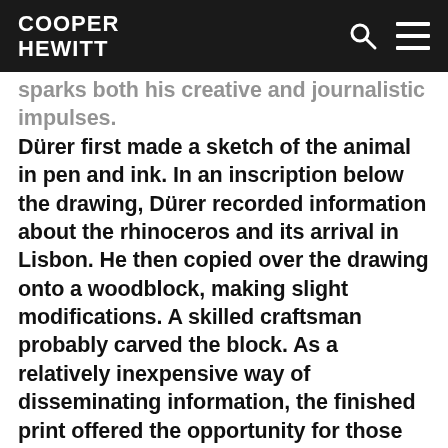COOPER HEWITT
sparks both his creative and journalistic impulses. Dürer first made a sketch of the animal in pen and ink.  In an inscription below the drawing, Dürer recorded information about the rhinoceros and its arrival in Lisbon.  He then copied over the drawing onto a woodblock, making slight modifications.  A skilled craftsman probably carved the block.  As a relatively inexpensive way of disseminating information, the finished print offered the opportunity for those near and far to see a depiction of an animal that they could previously only have imagined.  The woodcuts were in such high demand that they continued to be printed and distributed after Dürer's death.  Even as other living rhinoceroses made their way through Europe in the subsequent centuries, Dürer's exceptional but somewhat anatomically inaccurate rendering